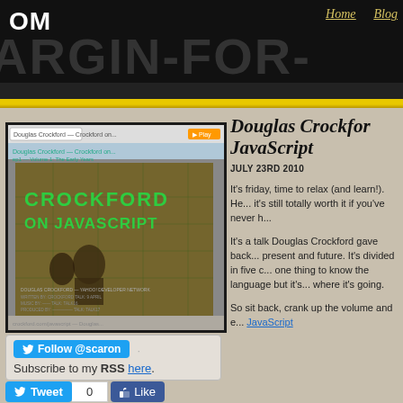OM — Home | Blog
[Figure (screenshot): Screenshot of a webpage showing 'Crockford on JavaScript' book/video series cover with dark brown and green tones]
Follow @scaron
Subscribe to my RSS here.
Tweet 0 | Like
Douglas Crockford on JavaScript
JULY 23RD 2010
It's friday, time to relax (and learn!). He... it's still totally worth it if you've never h...
It's a talk Douglas Crockford gave back... present and future. It's divided in five c... one thing to know the language but it's... where it's going.
So sit back, crank up the volume and e... JavaScript